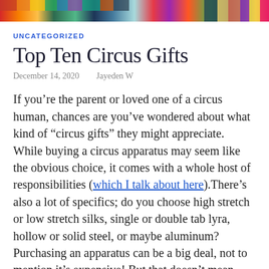[Figure (photo): Colorful banner strip across the top of the page, resembling a mosaic or rainbow of colors.]
UNCATEGORIZED
Top Ten Circus Gifts
December 14, 2020   Jayeden W
If you’re the parent or loved one of a circus human, chances are you’ve wondered about what kind of “circus gifts” they might appreciate. While buying a circus apparatus may seem like the obvious choice, it comes with a whole host of responsibilities (which I talk about here).There’s also a lot of specifics; do you choose high stretch or low stretch silks, single or double tab lyra, hollow or solid steel, or maybe aluminum? Purchasing an apparatus can be a big deal, not to mention it’s expensive! But that doesn’t mean you’re out of luck for circus gifts. As a circus professional and experienced coach, trust me when I say that there are plenty of great gifts for the circus